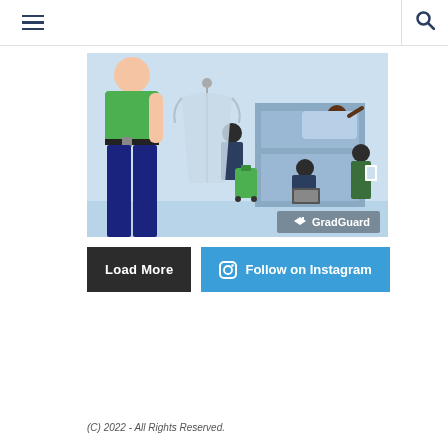Navigation header with hamburger menu and search icon
[Figure (illustration): GradGuard branded illustration showing college students in a dorm room: a woman in green top and dark pants holding clothes, a person on bunk bed, a person with green luggage, a person sitting with laptop, and a person standing holding books. Light blue background with GradGuard logo in bottom right.]
Load More
Follow on Instagram
(C) 2022 - All Rights Reserved.